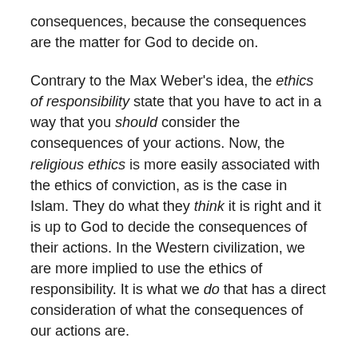consequences, because the consequences are the matter for God to decide on.
Contrary to the Max Weber's idea, the ethics of responsibility state that you have to act in a way that you should consider the consequences of your actions. Now, the religious ethics is more easily associated with the ethics of conviction, as is the case in Islam. They do what they think it is right and it is up to God to decide the consequences of their actions. In the Western civilization, we are more implied to use the ethics of responsibility. It is what we do that has a direct consideration of what the consequences of our actions are.
From our point of view, we have a completely different attitude also because the Pope will never be called to answer for the consequences of his actions. When the Pope was also a king, he had to behave on the basis of the ethics of responsibility. Now, it is no longer the case, now that as far as for example the policies of the Church inside the different